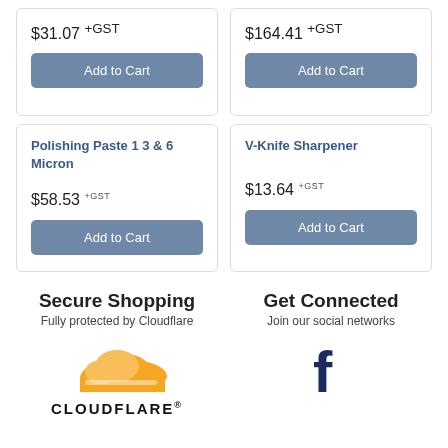$31.07 +GST
Add to Cart
$164.41 +GST
Add to Cart
Polishing Paste 1 3 & 6 Micron
$58.53 +GST
Add to Cart
V-Knife Sharpener
$13.64 +GST
Add to Cart
Secure Shopping
Fully protected by Cloudflare
[Figure (logo): Cloudflare logo with orange cloud and CLOUDFLARE wordmark]
Get Connected
Join our social networks
[Figure (logo): Facebook 'f' icon in dark blue]